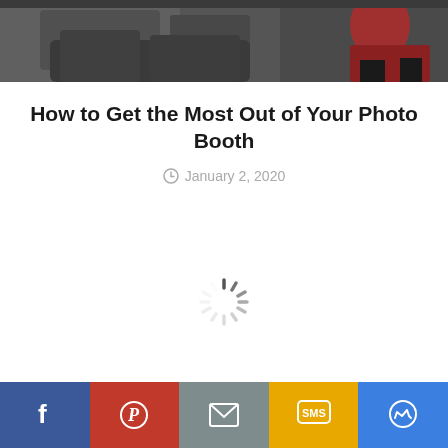[Figure (photo): Top portion of a photo showing people in a darkish setting, with what appears to be someone in red/dark clothing on the right side]
How to Get the Most Out of Your Photo Booth
January 2, 2020
[Figure (other): Loading spinner / throbber animation indicator in the center of the page]
[Figure (infographic): Social sharing bar at the bottom with Facebook, Pinterest, Email, SMS, and Messenger buttons]